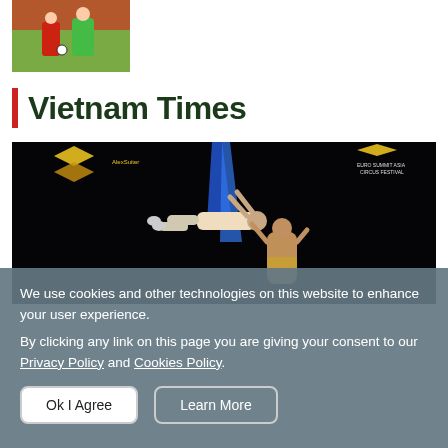[Figure (photo): Soccer/football match photo showing a goalkeeper in green and a player in red, cropped thumbnail at top left]
Vietnam Times
[Figure (photo): Dark circus performance photo showing two acrobats, one suspended horizontally holding blue aerial silks, the other standing below, with sponsor logos visible at top]
We use cookies and other technologies on this website to enhance your user experience.
By clicking any link on this page you are giving your consent to our Privacy Policy and Cookies Policy.
Ok I Agree   Learn More